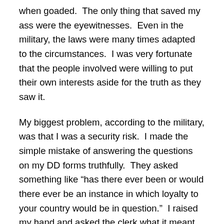when goaded.  The only thing that saved my ass were the eyewitnesses.  Even in the military, the laws were many times adapted to the circumstances.  I was very fortunate that the people involved were willing to put their own interests aside for the truth as they saw it.
My biggest problem, according to the military, was that I was a security risk.  I made the simple mistake of answering the questions on my DD forms truthfully.  They asked something like “has there ever been or would there ever be an instance in which loyalty to your country would be in question.”  I raised my hand and asked the clerk what it meant and he told me it meant whatever I thought it meant, so I checked yes and explained with the statement that my family and friends came first and if there was a conflict, I would side with them.  I think all of Willy Wonka’s bells and whistles went off in Washington and the next